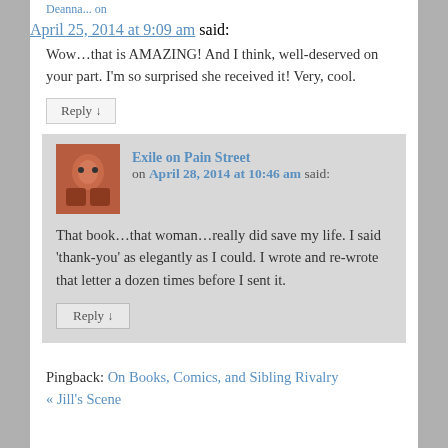Deanna... on April 25, 2014 at 9:09 am said:
Wow…that is AMAZING! And I think, well-deserved on your part. I'm so surprised she received it! Very, cool.
Reply ↓
Exile on Pain Street on April 28, 2014 at 10:46 am said:
That book…that woman…really did save my life. I said 'thank-you' as elegantly as I could. I wrote and re-wrote that letter a dozen times before I sent it.
Reply ↓
Pingback: On Books, Comics, and Sibling Rivalry « Jill's Scene